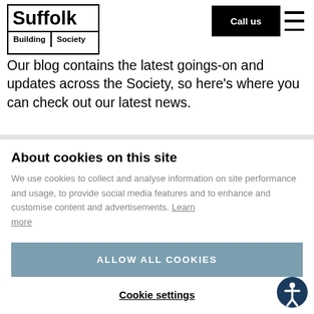[Figure (logo): Suffolk Building Society logo with bordered text layout]
Call us
Our blog contains the latest goings-on and updates across the Society, so here's where you can check out our latest news.
About cookies on this site
We use cookies to collect and analyse information on site performance and usage, to provide social media features and to enhance and customise content and advertisements. Learn more
ALLOW ALL COOKIES
Cookie settings